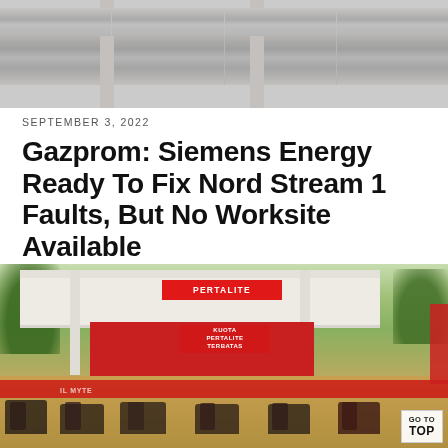[Figure (photo): Industrial gas pipeline photo, partially obscured by fog/haze, showing large cylindrical pipes and support pillars in a grey industrial setting]
SEPTEMBER 3, 2022
Gazprom: Siemens Energy Ready To Fix Nord Stream 1 Faults, But No Worksite Available
[Figure (photo): A Pertalite (Indonesian fuel brand) gas station with a red and white canopy, motorcyclists queued in front, trees visible in the background, red banner across the street]
GO TO TOP